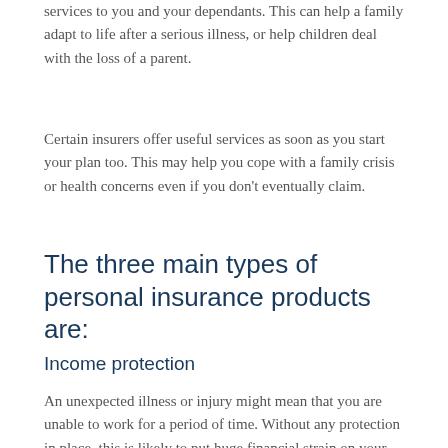services to you and your dependants. This can help a family adapt to life after a serious illness, or help children deal with the loss of a parent.
Certain insurers offer useful services as soon as you start your plan too. This may help you cope with a family crisis or health concerns even if you don't eventually claim.
The three main types of personal insurance products are:
Income protection
An unexpected illness or injury might mean that you are unable to work for a period of time. Without any protection in place, this is likely to put huge financial strain on your household. At best, it could mean exhausting your savings